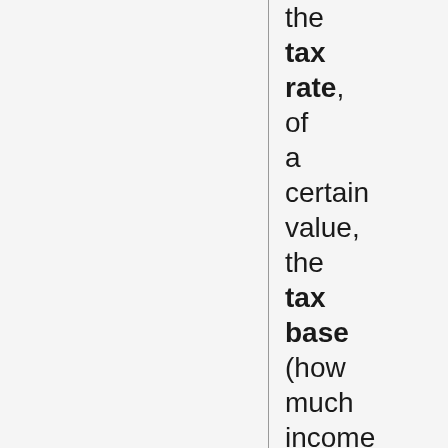the tax rate, of a certain value, the tax base (how much income and assets one